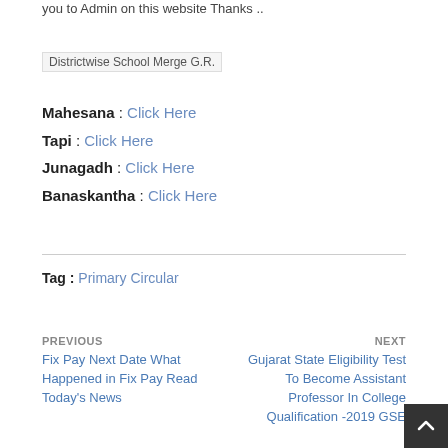you to Admin on this website Thanks ..
Districtwise School Merge G.R.
Mahesana : Click Here
Tapi : Click Here
Junagadh : Click Here
Banaskantha : Click Here
Tag : Primary Circular
PREVIOUS
Fix Pay Next Date What Happened in Fix Pay Read Today's News
NEXT
Gujarat State Eligibility Test To Become Assistant Professor In College Qualification -2019 GSE